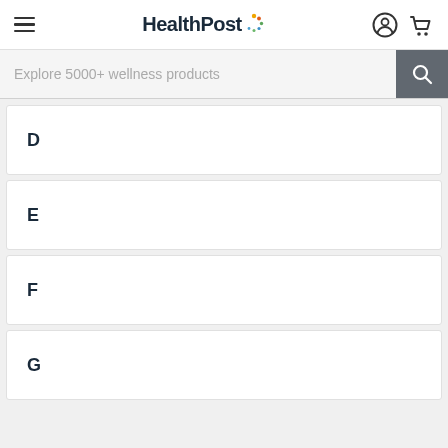HealthPost — Explore 5000+ wellness products
D
E
F
G